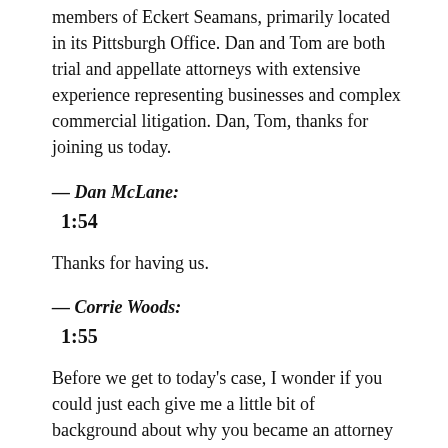members of Eckert Seamans, primarily located in its Pittsburgh Office. Dan and Tom are both trial and appellate attorneys with extensive experience representing businesses and complex commercial litigation. Dan, Tom, thanks for joining us today.
— Dan McLane:
1:54
Thanks for having us.
— Corrie Woods:
1:55
Before we get to today's case, I wonder if you could just each give me a little bit of background about why you became an attorney and how you came to your current practice.